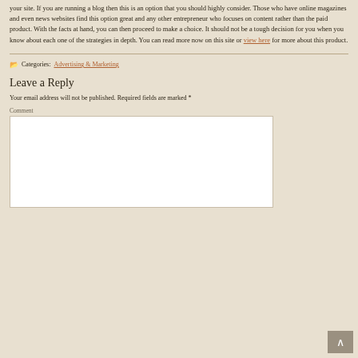your site. If you are running a blog then this is an option that you should highly consider. Those who have online magazines and even news websites find this option great and any other entrepreneur who focuses on content rather than the paid product. With the facts at hand, you can then proceed to make a choice. It should not be a tough decision for you when you know about each one of the strategies in depth. You can read more now on this site or view here for more about this product.
Categories: Advertising & Marketing
Leave a Reply
Your email address will not be published. Required fields are marked *
Comment